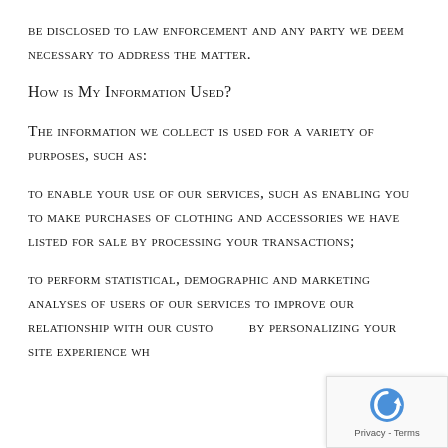be disclosed to law enforcement and any party we deem necessary to address the matter.
How is My Information Used?
The information we collect is used for a variety of purposes, such as:
to enable your use of our services, such as enabling you to make purchases of clothing and accessories we have listed for sale by processing your transactions;
to perform statistical, demographic and marketing analyses of users of our services to improve our relationship with our customers by personalizing your site experience wh...